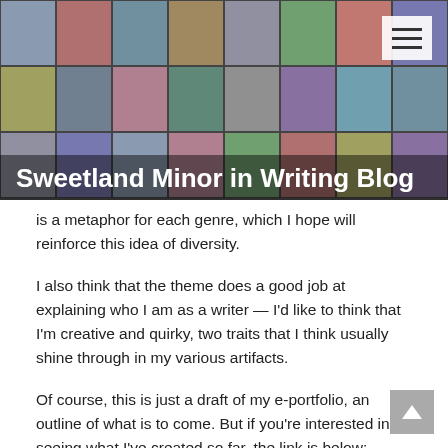[Figure (photo): Header banner with mosaic of thumbnail photos forming background, with site title overlay]
Sweetland Minor in Writing Blog
is a metaphor for each genre, which I hope will reinforce this idea of diversity.
I also think that the theme does a good job at explaining who I am as a writer — I'd like to think that I'm creative and quirky, two traits that I think usually shine through in my various artifacts.
Of course, this is just a draft of my e-portfolio, an outline of what is to come. But if you're interested in seeing what I've created so far, the link is below:
https://lindatellcapstone.wordpress.com/
Please click around and let me know what you think in